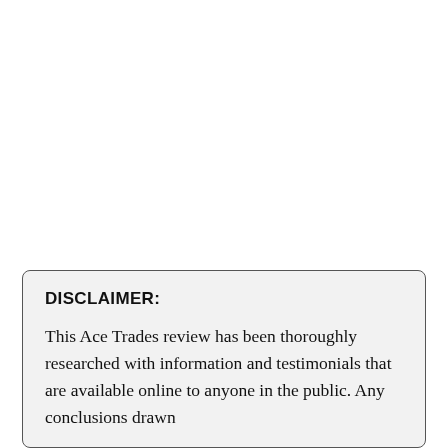DISCLAIMER:
This Ace Trades review has been thoroughly researched with information and testimonials that are available online to anyone in the public. Any conclusions drawn